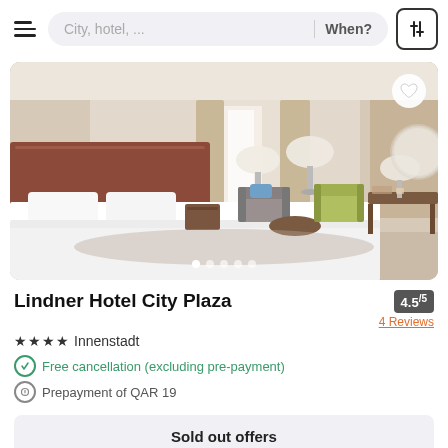City, hotel, ... | When?
[Figure (photo): Hotel room photo showing a neatly made twin/double bed with white linens, wooden headboard, beige walls, two floor lamps, armchairs, a round coffee table, a yellow-green accent chair, desk, and draped windows with natural light.]
Lindner Hotel City Plaza
4.5/5 — 4 Reviews
★★★★ Innenstadt
Free cancellation (excluding pre-payment)
Prepayment of QAR 19
Sold out offers